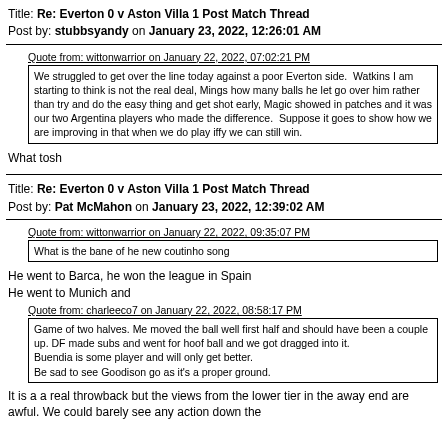Title: Re: Everton 0 v Aston Villa 1 Post Match Thread
Post by: stubbsyandy on January 23, 2022, 12:26:01 AM
Quote from: wittonwarrior on January 22, 2022, 07:02:21 PM
We struggled to get over the line today against a poor Everton side.  Watkins I am starting to think is not the real deal, Mings how many balls he let go over him rather than try and do the easy thing and get shot early, Magic showed in patches and it was our two Argentina players who made the difference.  Suppose it goes to show how we are improving in that when we do play iffy we can still win.
What tosh
Title: Re: Everton 0 v Aston Villa 1 Post Match Thread
Post by: Pat McMahon on January 23, 2022, 12:39:02 AM
Quote from: wittonwarrior on January 22, 2022, 09:35:07 PM
What is the bane of he new coutinho song
He went to Barca, he won the league in Spain
He went to Munich and
Quote from: charleeco7 on January 22, 2022, 08:58:17 PM
Game of two halves. Me moved the ball well first half and should have been a couple up. DF made subs and went for hoof ball and we got dragged into it.
Buendia is some player and will only get better.
Be sad to see Goodison go as it's a proper ground.
It is a a real throwback but the views from the lower tier in the away end are awful. We could barely see any action down the